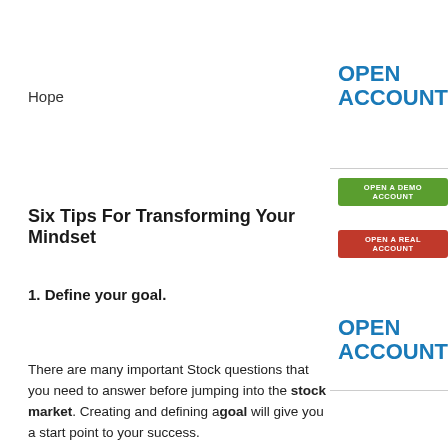Hope
OPEN ACCOUNT
[Figure (other): Green button labeled OPEN A DEMO ACCOUNT]
Six Tips For Transforming Your Mindset
[Figure (other): Red button labeled OPEN A REAL ACCOUNT]
1. Define your goal.
OPEN ACCOUNT
There are many important Stock questions that you need to answer before jumping into the stock market. Creating and defining a goal will give you a start point to your success.